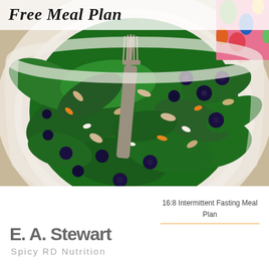Free Meal Plan
[Figure (photo): A white bowl containing a kale salad with blueberries, chopped almonds, and other toppings, with a silver fork resting in it. A colorful floral fabric is visible in the top right corner.]
E. A. Stewart
Spicy RD Nutrition
16:8 Intermittent Fasting Meal Plan